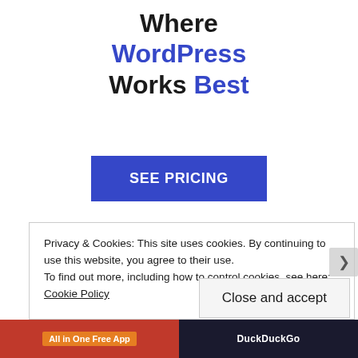Where WordPress Works Best
[Figure (other): SEE PRICING button — a large blue rectangular button with white uppercase bold text reading 'SEE PRICING']
Privacy & Cookies: This site uses cookies. By continuing to use this website, you agree to their use.
To find out more, including how to control cookies, see here: Cookie Policy
[Figure (other): Close and accept button — a light grey rectangular button with text 'Close and accept']
[Figure (other): Bottom browser bar showing 'All in One Free App' on a red/orange background on the left, and DuckDuckGo branding on a dark background on the right]